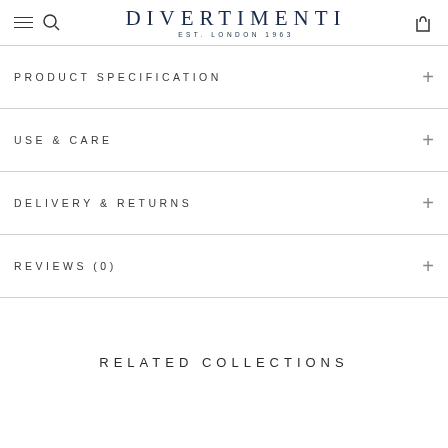DIVERTIMENTI EST. LONDON 1963
PRODUCT SPECIFICATION
USE & CARE
DELIVERY & RETURNS
REVIEWS (0)
RELATED COLLECTIONS